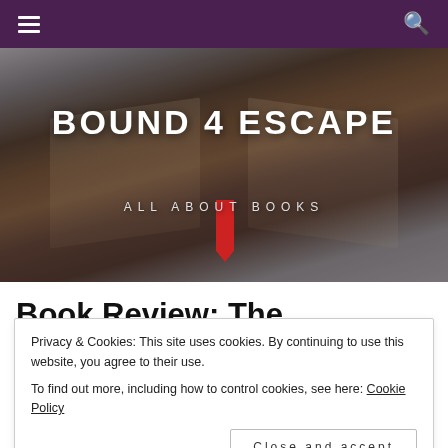Navigation bar with hamburger menu and search icon
[Figure (photo): Open book with red ribbon bookmark, darkened and blurred, serving as hero background image for the blog 'Bound 4 Escape']
BOUND 4 ESCAPE
ALL ABOUT BOOKS
Book Review: The
Privacy & Cookies: This site uses cookies. By continuing to use this website, you agree to their use.
To find out more, including how to control cookies, see here: Cookie Policy
Close and accept
March 2, 2018   sleepygirl2